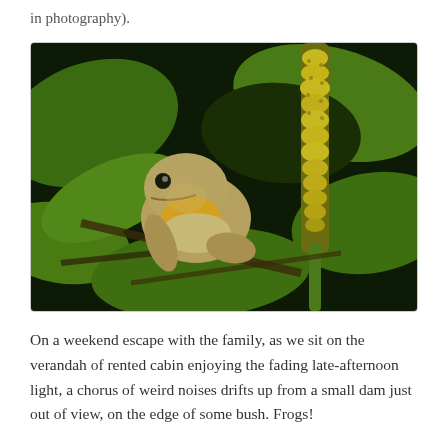in photography).
[Figure (photo): A frog sitting on green lily pads and plant debris next to a tall yellow-green spiked plant stalk, photographed at night with dark background and vivid green foliage.]
On a weekend escape with the family, as we sit on the verandah of rented cabin enjoying the fading late-afternoon light, a chorus of weird noises drifts up from a small dam just out of view, on the edge of some bush. Frogs!